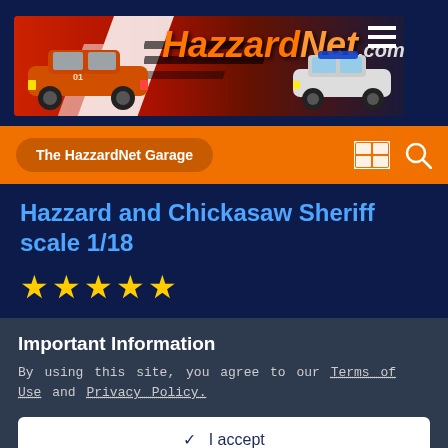[Figure (logo): HazzardNet.com website banner with orange logo text, two cars (General Lee and Sheriff car) on a red/white/blue background]
The HazzardNet Garage
Hazzard and Chickasaw Sheriff scale 1/18
★★★★★ (5 stars)
Important Information
By using this site, you agree to our Terms of Use and Privacy Policy.
✓ I accept